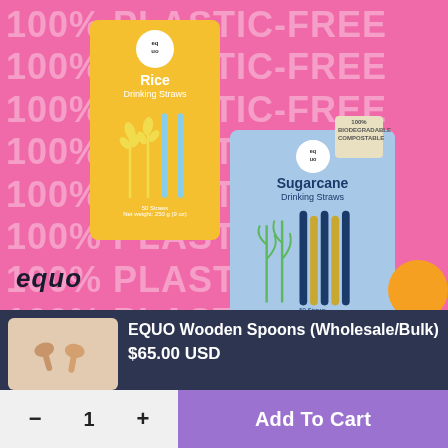[Figure (photo): Product photo showing EQUO branded Rice Drinking Straws (yellow box) and Sugarcane Drinking Straws (blue box) held by hands against a hot pink background with repeating '100% PLASTIC-FREE' watermark text. EQUO logo visible bottom left.]
[Figure (photo): Product thumbnail image showing two wooden spoons]
EQUUO Wooden Spoons (Wholesale/Bulk)
$65.00 USD
- 1 + Add To Cart